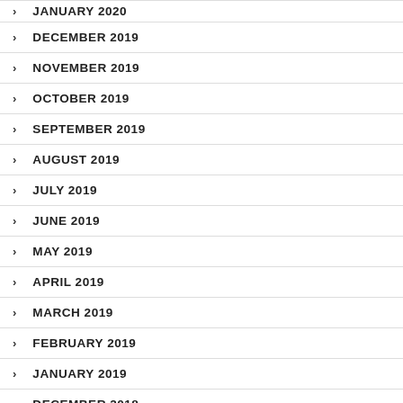JANUARY 2020
DECEMBER 2019
NOVEMBER 2019
OCTOBER 2019
SEPTEMBER 2019
AUGUST 2019
JULY 2019
JUNE 2019
MAY 2019
APRIL 2019
MARCH 2019
FEBRUARY 2019
JANUARY 2019
DECEMBER 2018